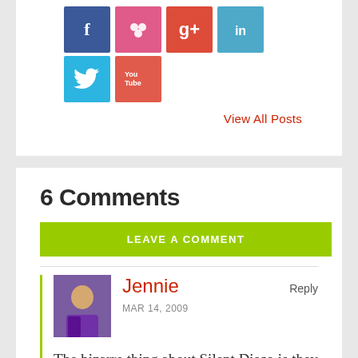[Figure (illustration): Social media icon buttons: Facebook (blue), Google+ (pink/red), Google (red), LinkedIn (light blue) in top row; Twitter (teal/cyan) and YouTube (red) in second row]
View All Posts
6 Comments
LEAVE A COMMENT
Jennie
Reply
MAR 14, 2009
The bizarre thing about Silent Disco is they did one on the ground floor of the